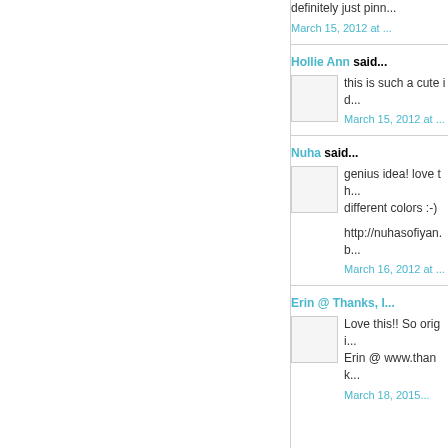definitely just pinn...
March 15, 2012 at ...
Hollie Ann said...
this is such a cute id...
March 15, 2012 at ...
Nuha said...
genius idea! love th... different colors :-)
http://nuhasofiyan.b...
March 16, 2012 at ...
Erin @ Thanks, I...
Love this!! So origi... Erin @ www.thank...
March 18, 2015...